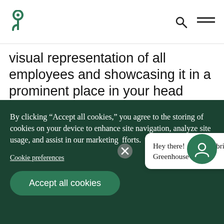Greenhouse logo, search icon, menu icon
visual representation of all employees and showcasing it in a prominent place in your head office. This can be formal (think professional headshots) or casual (photos of
By clicking “Accept all cookies,” you agree to the storing of cookies on your device to enhance site navigation, analyze site usage, and assist in our marketing efforts.
Cookie preferences
Accept all cookies
Hey there! 👋 What brings you to Greenhouse today?